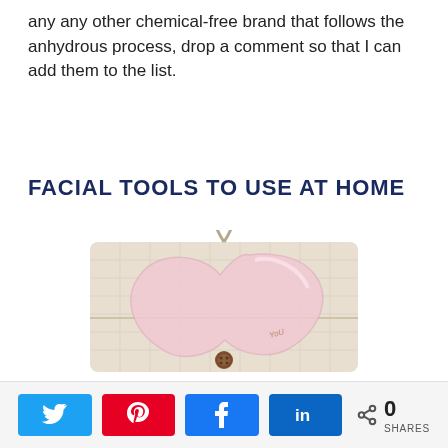any any other chemical-free brand that follows the anhydrous process, drop a comment so that I can add them to the list.
FACIAL TOOLS TO USE AT HOME
[Figure (photo): A rose quartz gua sha stone resting on a beige linen drawstring bag with a wooden button closure, photographed on white background.]
0 SHARES